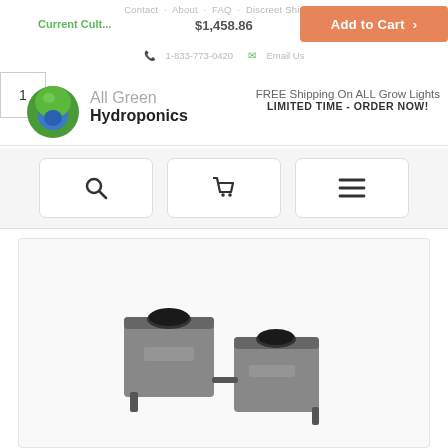Contact · About · FAQ · Discreet Shipping
Current Cult...
$1,458.86
Add to Cart >
1-833-773-0420  Email Us
1
[Figure (logo): All Green Hydroponics logo with green plant/water droplet icon]
FREE Shipping On ALL Grow Lights
LIMITED TIME - ORDER NOW!
[Figure (screenshot): Navigation bar with search icon, cart icon, and hamburger menu icon buttons]
[Figure (photo): Hydroponics growing system product photo showing black cube-shaped growing modules with net pots]